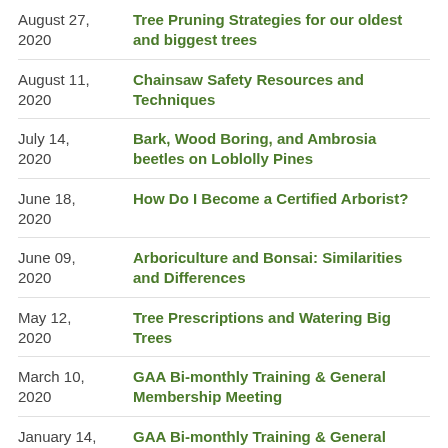August 27, 2020 | Tree Pruning Strategies for our oldest and biggest trees
August 11, 2020 | Chainsaw Safety Resources and Techniques
July 14, 2020 | Bark, Wood Boring, and Ambrosia beetles on Loblolly Pines
June 18, 2020 | How Do I Become a Certified Arborist?
June 09, 2020 | Arboriculture and Bonsai: Similarities and Differences
May 12, 2020 | Tree Prescriptions and Watering Big Trees
March 10, 2020 | GAA Bi-monthly Training & General Membership Meeting
January 14, 2020 | GAA Bi-monthly Training & General Membership Meeting
December 12, 2019 | 2019 Winter Workshop and Awards Luncheon